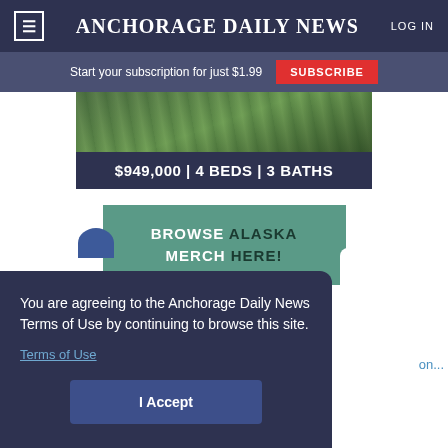Anchorage Daily News
Start your subscription for just $1.99  SUBSCRIBE
[Figure (photo): Property listing image showing greenery/trees with price bar below showing $949,000 | 4 BEDS | 3 BATHS]
[Figure (infographic): Browse Alaska Merch Here! banner with teal background]
You are agreeing to the Anchorage Daily News Terms of Use by continuing to browse this site.
Terms of Use
I Accept